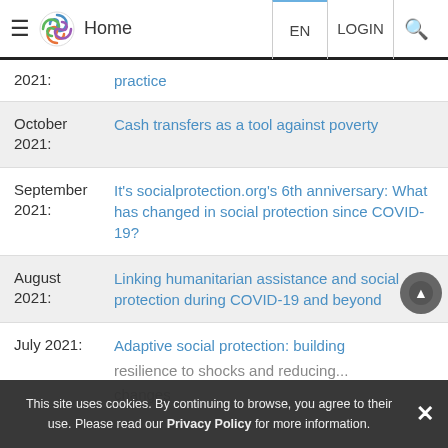Home | EN | LOGIN
2021: practice
October 2021: Cash transfers as a tool against poverty
September 2021: It's socialprotection.org's 6th anniversary: What has changed in social protection since COVID-19?
August 2021: Linking humanitarian assistance and social protection during COVID-19 and beyond
July 2021: Adaptive social protection: building resilience to shocks and reducing...
June 2021: Enhancing food security during shock...
This site uses cookies. By continuing to browse, you agree to their use. Please read our Privacy Policy for more information.